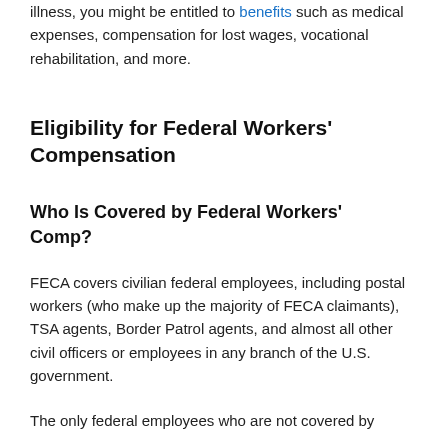illness, you might be entitled to benefits such as medical expenses, compensation for lost wages, vocational rehabilitation, and more.
Eligibility for Federal Workers' Compensation
Who Is Covered by Federal Workers' Comp?
FECA covers civilian federal employees, including postal workers (who make up the majority of FECA claimants), TSA agents, Border Patrol agents, and almost all other civil officers or employees in any branch of the U.S. government.
The only federal employees who are not covered by